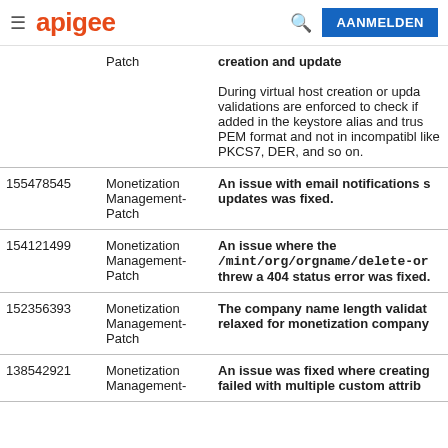apigee  AANMELDEN
| ID | Type | Description |
| --- | --- | --- |
|  | Patch | creation and update

During virtual host creation or upda validations are enforced to check if added in the keystore alias and trus PEM format and not in incompatibl like PKCS7, DER, and so on. |
| 155478545 | Monetization Management-Patch | An issue with email notifications s updates was fixed. |
| 154121499 | Monetization Management-Patch | An issue where the /mint/org/orgname/delete-or threw a 404 status error was fixed. |
| 152356393 | Monetization Management-Patch | The company name length validat relaxed for monetization company |
| 138542921 | Monetization Management-Patch | An issue was fixed where creating failed with multiple custom attrib |